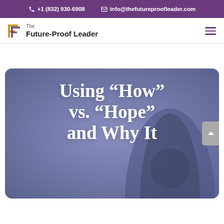+1 (832) 930-6908   info@thefutureproofleader.com
[Figure (logo): The Future-Proof Leader logo with stylized FP icon in gold/purple and text 'The Future-Proof Leader']
[Figure (photo): Hero image with dark blue-purple overlay showing silhouette of a person, with large white serif text reading 'Using "How" vs. "Hope" and Why It']